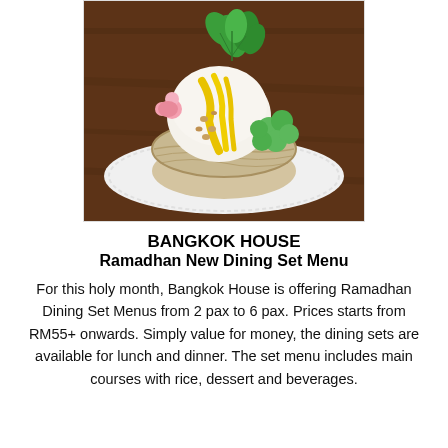[Figure (photo): A dessert served in a coconut shell filled with ice cream, topped with mango sauce, green glutinous rice balls, peanuts, pink flower-shaped sweets, and fresh mint leaves, placed on a white plate with a lace doily on a dark wooden table.]
BANGKOK HOUSE
Ramadhan New Dining Set Menu
For this holy month, Bangkok House is offering Ramadhan Dining Set Menus from 2 pax to 6 pax. Prices starts from RM55+ onwards. Simply value for money, the dining sets are available for lunch and dinner. The set menu includes main courses with rice, dessert and beverages.